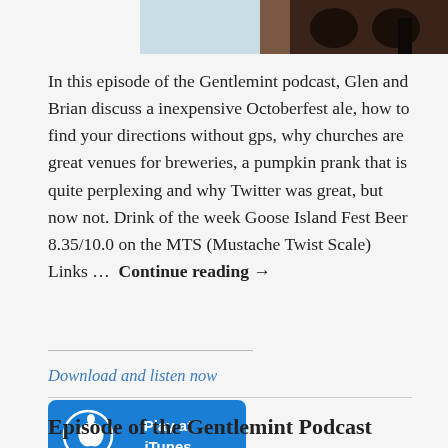[Figure (photo): Partial photo at top showing a brick building with dark arched windows and a light blue sky, cropped at the top of the page.]
In this episode of the Gentlemint podcast, Glen and Brian discuss a inexpensive Octoberfest ale, how to find your directions without gps, why churches are great venues for breweries, a pumpkin prank that is quite perplexing and why Twitter was great, but now not. Drink of the week Goose Island Fest Beer 8.35/10.0 on the MTS (Mustache Twist Scale) Links ...  Continue reading →
Download and listen now
[Figure (other): Blue iTunes Play at iTunes button with Apple logo icon]
Episode of the Gentlemint Podcast